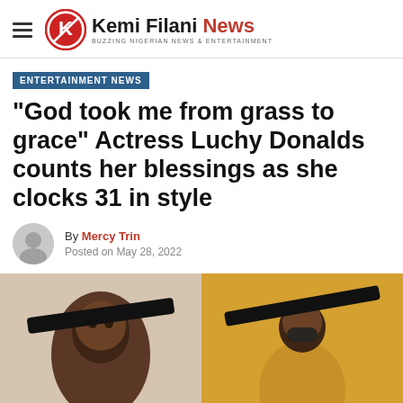Kemi Filani News — BUZZING NIGERIAN NEWS & ENTERTAINMENT
ENTERTAINMENT NEWS
“God took me from grass to grace” Actress Luchy Donalds counts her blessings as she clocks 31 in style
By Mercy Trin
Posted on May 28, 2022
[Figure (photo): Two photos of actress Luchy Donalds in birthday photoshoot: left photo shows close-up portrait with large black hat; right photo shows full-length pose in yellow outfit with large black hat and sunglasses]